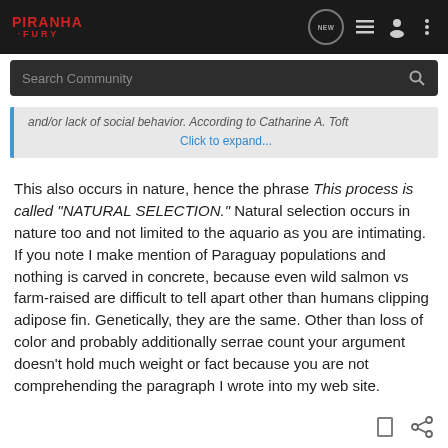PIRANHA FURY
Search Community
and/or lack of social behavior. According to Catharine A. Toft
Click to expand...
This also occurs in nature, hence the phrase This process is called "NATURAL SELECTION." Natural selection occurs in nature too and not limited to the aquario as you are intimating. If you note I make mention of Paraguay populations and nothing is carved in concrete, because even wild salmon vs farm-raised are difficult to tell apart other than humans clipping adipose fin. Genetically, they are the same. Other than loss of color and probably additionally serrae count your argument doesn't hold much weight or fact because you are not comprehending the paragraph I wrote into my web site.